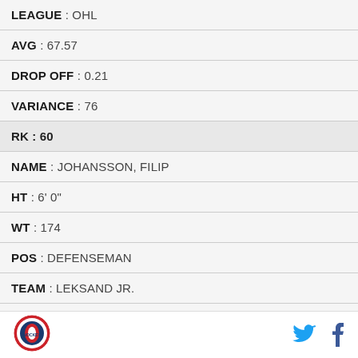| LEAGUE | OHL |
| AVG | 67.57 |
| DROP OFF | 0.21 |
| VARIANCE | 76 |
| RK | 60 |
| NAME | JOHANSSON, FILIP |
| HT | 6' 0" |
| WT | 174 |
| POS | DEFENSEMAN |
| TEAM | LEKSAND JR. |
| LEAGUE | SWEDEN-JR. |
[Figure (logo): Round sports organization logo with red/blue/white design]